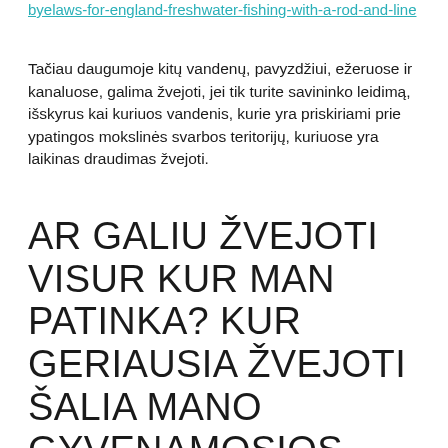byelaws-for-england-freshwater-fishing-with-a-rod-and-line
Tačiau daugumoje kitų vandenų, pavyzdžiui, ežeruose ir kanaluose, galima žvejoti, jei tik turite savininko leidimą, išskyrus kai kuriuos vandenis, kurie yra priskiriami prie ypatingos mokslinės svarbos teritorijų, kuriuose yra laikinas draudimas žvejoti.
AR GALIU ŽVEJOTI VISUR KUR MAN PATINKA? KUR GERIAUSIA ŽVEJOTI ŠALIA MANO GYVENAMOSIOS VIETOS?